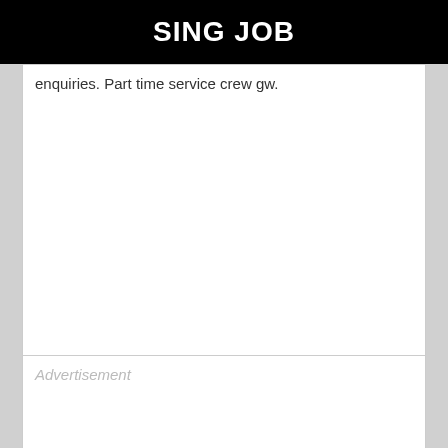SING JOB
enquiries. Part time service crew gw.
Advertisement